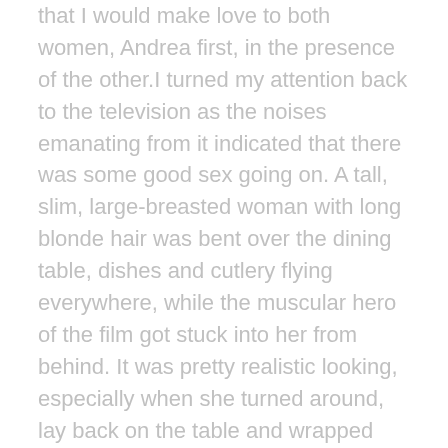that I would make love to both women, Andrea first, in the presence of the other.I turned my attention back to the television as the noises emanating from it indicated that there was some good sex going on. A tall, slim, large-breasted woman with long blonde hair was bent over the dining table, dishes and cutlery flying everywhere, while the muscular hero of the film got stuck into her from behind. It was pretty realistic looking, especially when she turned around, lay back on the table and wrapped her legs around his back when he entered her again. He was licking and sucking on her titties, and banging away for all he was worth. Andrea, while my attention was diverted, had begun to unbutton her dress from the bottom, pushing it aside so that I could see her crossed legs. She has the best thighs I've ever seen, and I love it when she crosses one leg right over the other. The effect was heightened by the fact that she was wearing her lacy top stockings, and as she loosened the last button and pulled